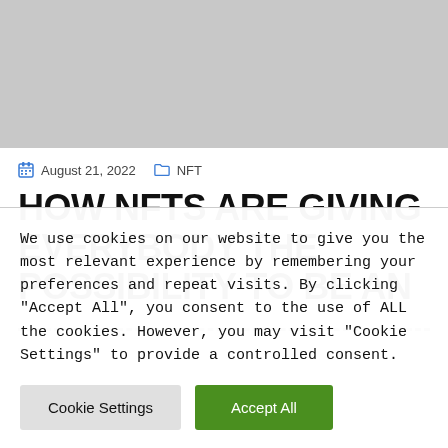[Figure (photo): Gray placeholder image at top of webpage]
August 21, 2022   NFT
HOW NFTS ARE GIVING EVERYBODY THE POSSIBILITY TO BE AN
We use cookies on our website to give you the most relevant experience by remembering your preferences and repeat visits. By clicking "Accept All", you consent to the use of ALL the cookies. However, you may visit "Cookie Settings" to provide a controlled consent.